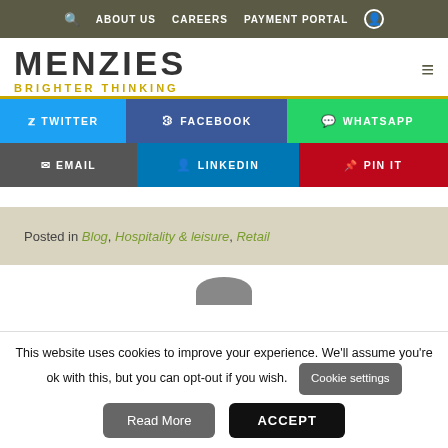ABOUT US  CAREERS  PAYMENT PORTAL
MENZIES BRIGHTER THINKING
[Figure (screenshot): Social share buttons: Twitter, Facebook, WhatsApp, Email, LinkedIn, Pin It]
Posted in Blog, Hospitality & leisure, Retail
This website uses cookies to improve your experience. We'll assume you're ok with this, but you can opt-out if you wish.
Cookie settings
Read More
ACCEPT